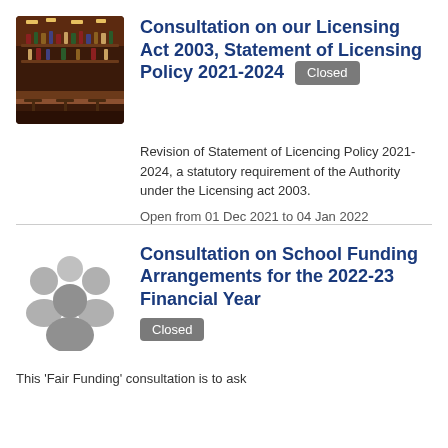[Figure (photo): Photo of a bar interior with shelves of bottles and bar stools]
Consultation on our Licensing Act 2003, Statement of Licensing Policy 2021-2024 Closed
Revision of Statement of Licencing Policy 2021-2024, a statutory requirement of the Authority under the Licensing act 2003.
Open from 01 Dec 2021 to 04 Jan 2022
[Figure (illustration): Grey silhouette icon of a group of people]
Consultation on School Funding Arrangements for the 2022-23 Financial Year Closed
This 'Fair Funding' consultation is to ask